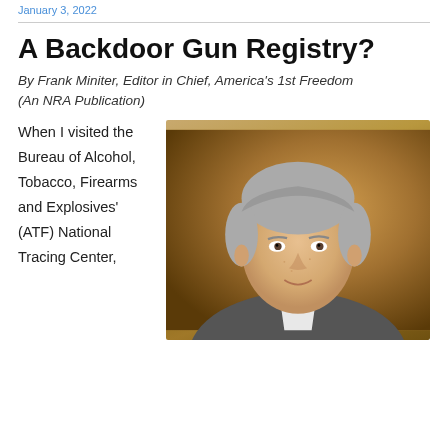January 3, 2022
A Backdoor Gun Registry?
By Frank Miniter, Editor in Chief, America's 1st Freedom (An NRA Publication)
When I visited the Bureau of Alcohol, Tobacco, Firearms and Explosives' (ATF) National Tracing Center,
[Figure (photo): Professional headshot of a middle-aged man with grey hair wearing a grey suit jacket and white shirt, photographed against a warm golden-brown background.]